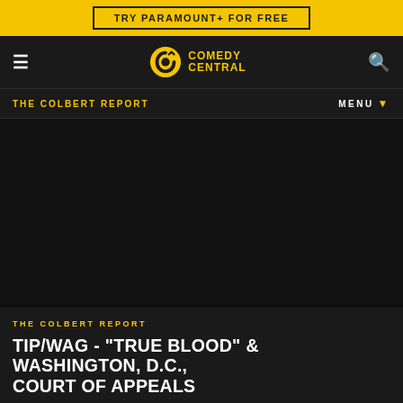TRY PARAMOUNT+ FOR FREE
[Figure (logo): Comedy Central logo with navigation bar showing hamburger menu on left and search icon on right]
THE COLBERT REPORT | MENU
[Figure (screenshot): Dark video player area for The Colbert Report episode]
THE COLBERT REPORT
TIP/WAG - "TRUE BLOOD" & WASHINGTON, D.C., COURT OF APPEALS